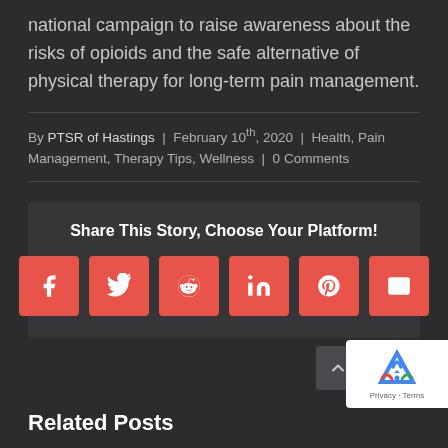national campaign to raise awareness about the risks of opioids and the safe alternative of physical therapy for long-term pain management.
By PTSR of Hastings | February 10th, 2020 | Health, Pain Management, Therapy Tips, Wellness | 0 Comments
Share This Story, Choose Your Platform!
[Figure (infographic): Social media sharing icons: Facebook, Twitter, Reddit, LinkedIn, Pinterest, Email — all in coral/red rounded square buttons]
Related Posts